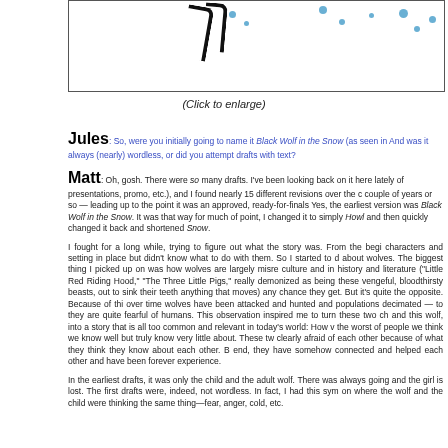[Figure (illustration): Partial illustration showing paw/claw marks in snow with blue dot decorations, cut off at top of page]
(Click to enlarge)
Jules: So, were you initially going to name it Black Wolf in the Snow (as seen in And was it always (nearly) wordless, or did you attempt drafts with text?
Matt: Oh, gosh. There were so many drafts. I've been looking back on it here lately of presentations, promo, etc.), and I found nearly 15 different revisions over the c couple of years or so — leading up to the point it was an approved, ready-for-finals Yes, the earliest version was Black Wolf in the Snow. It was that way for much of point, I changed it to simply Howl and then quickly changed it back and shortened Snow.
I fought for a long while, trying to figure out what the story was. From the begi characters and setting in place but didn't know what to do with them. So I started to d about wolves. The biggest thing I picked up on was how wolves are largely misre culture and in history and literature ("Little Red Riding Hood," "The Three Little Pigs," really demonized as being these vengeful, bloodthirsty beasts, out to sink their teeth anything that moves) any chance they get. But it's quite the opposite. Because of thi over time wolves have been attacked and hunted and populations decimated — to they are quite fearful of humans. This observation inspired me to turn these two ch and this wolf, into a story that is all too common and relevant in today's world: How v the worst of people we think we know well but truly know very little about. These tw clearly afraid of each other because of what they think they know about each other. B end, they have somehow connected and helped each other and have been forever experience.
In the earliest drafts, it was only the child and the adult wolf. There was always going and the girl is lost. The first drafts were, indeed, not wordless. In fact, I had this sym on where the wolf and the child were thinking the same thing—fear, anger, cold, etc.